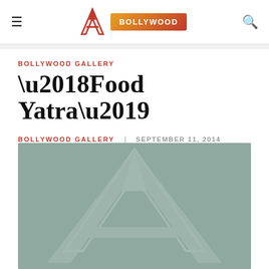≡  [A logo]  BOLLYWOOD  🔍
BOLLYWOOD GALLERY
'Food Yatra'
BOLLYWOOD GALLERY   SEPTEMBER 11, 2014
[Figure (logo): Large stylized A logo watermark on muted teal/gray background, serving as article placeholder image]